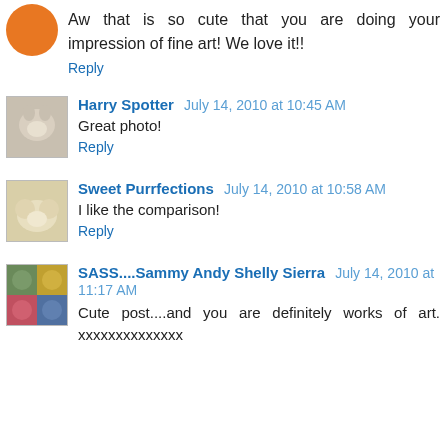Aw that is so cute that you are doing your impression of fine art! We love it!!
Reply
Harry Spotter  July 14, 2010 at 10:45 AM
Great photo!
Reply
Sweet Purrfections  July 14, 2010 at 10:58 AM
I like the comparison!
Reply
SASS....Sammy Andy Shelly Sierra  July 14, 2010 at 11:17 AM
Cute post....and you are definitely works of art. xxxxxxxxxxxxxx